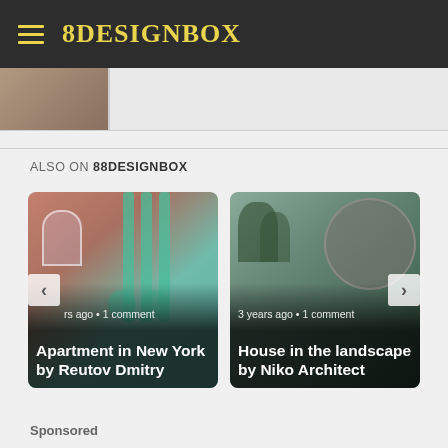88DESIGNBOX
[Figure (screenshot): Partial thumbnail image strip showing edge of an interior/exterior photo]
ALSO ON 88DESIGNBOX
[Figure (photo): Card: Apartment in New York by Reutov Dmitry — interior with pink tones and green columns, meta: years ago • 1 comment]
[Figure (photo): Card: House in the landscape by Niko Architect — exterior with spherical architecture and trees, meta: 3 years ago • 1 comment]
Sponsored